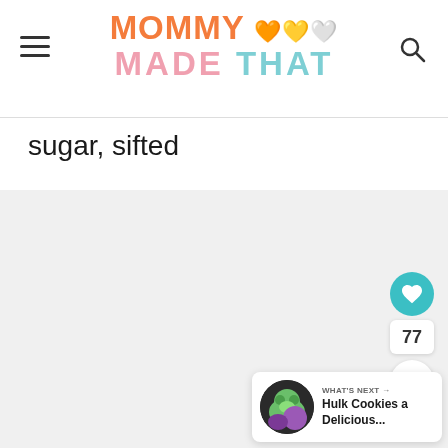MOMMY MADE THAT
sugar, sifted
[Figure (other): Gray placeholder content area]
77
WHAT'S NEXT → Hulk Cookies a Delicious...